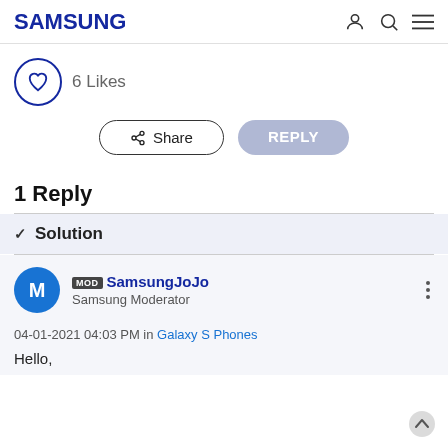SAMSUNG
6 Likes
Share   REPLY
1 Reply
✓ Solution
MOD SamsungJoJo
Samsung Moderator
04-01-2021 04:03 PM in Galaxy S Phones
Hello,